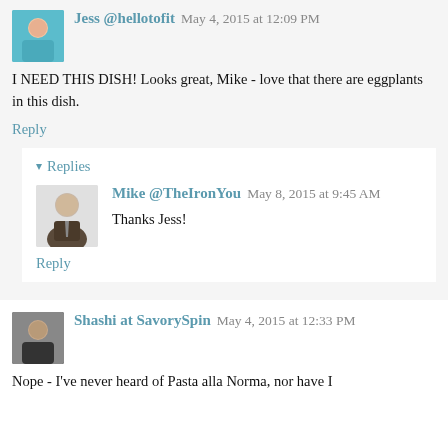Jess @hellotofit May 4, 2015 at 12:09 PM
I NEED THIS DISH! Looks great, Mike - love that there are eggplants in this dish.
Reply
Replies
Mike @TheIronYou May 8, 2015 at 9:45 AM
Thanks Jess!
Reply
Shashi at SavorySpin May 4, 2015 at 12:33 PM
Nope - I've never heard of Pasta alla Norma, nor have I